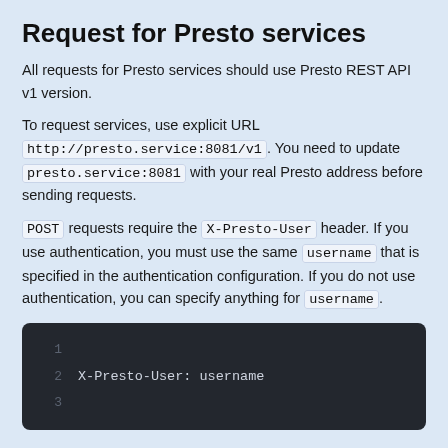Request for Presto services
All requests for Presto services should use Presto REST API v1 version.
To request services, use explicit URL http://presto.service:8081/v1. You need to update presto.service:8081 with your real Presto address before sending requests.
POST requests require the X-Presto-User header. If you use authentication, you must use the same username that is specified in the authentication configuration. If you do not use authentication, you can specify anything for username.
[Figure (screenshot): Code block showing HTTP header example with line numbers 1, 2, 3. Line 2 contains: X-Presto-User: username]